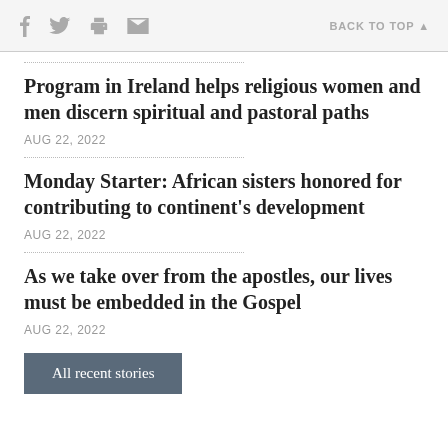f  (twitter)  (print)  (mail)    BACK TO TOP ▲
Program in Ireland helps religious women and men discern spiritual and pastoral paths
AUG 22, 2022
Monday Starter: African sisters honored for contributing to continent's development
AUG 22, 2022
As we take over from the apostles, our lives must be embedded in the Gospel
AUG 22, 2022
All recent stories